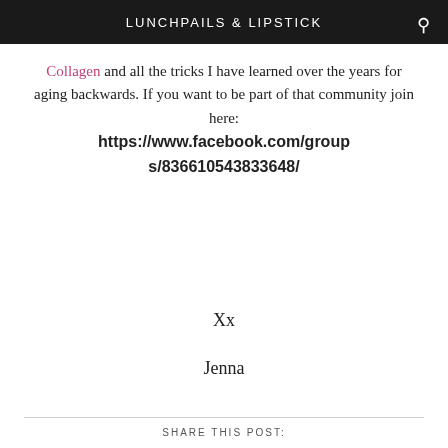LUNCHPAILS & LIPSTICK
Collagen and all the tricks I have learned over the years for aging backwards. If you want to be part of that community join here: https://www.facebook.com/groups/836610543833648/
Xx
Jenna
SHARE THIS POST: